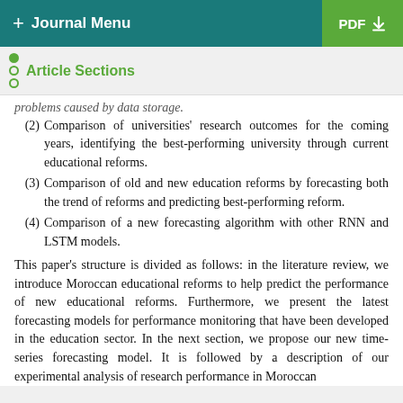+ Journal Menu   PDF ↓
Article Sections
problems caused by data storage.
(2) Comparison of universities' research outcomes for the coming years, identifying the best-performing university through current educational reforms.
(3) Comparison of old and new education reforms by forecasting both the trend of reforms and predicting best-performing reform.
(4) Comparison of a new forecasting algorithm with other RNN and LSTM models.
This paper's structure is divided as follows: in the literature review, we introduce Moroccan educational reforms to help predict the performance of new educational reforms. Furthermore, we present the latest forecasting models for performance monitoring that have been developed in the education sector. In the next section, we propose our new time-series forecasting model. It is followed by a description of our experimental analysis of research performance in Moroccan universities with forecasts. Finally, we propose a conclusion.